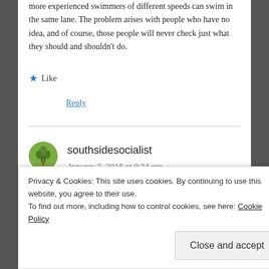more experienced swimmers of different speeds can swim in the same lane. The problem arises with people who have no idea, and of course, those people will never check just what they should and shouldn't do.
★ Like
Reply
southsidesocialist
January 3, 2016 at 8:34 pm
My nearest pool (Royal Commonwealth Pool in
Privacy & Cookies: This site uses cookies. By continuing to use this website, you agree to their use.
To find out more, including how to control cookies, see here: Cookie Policy
Close and accept